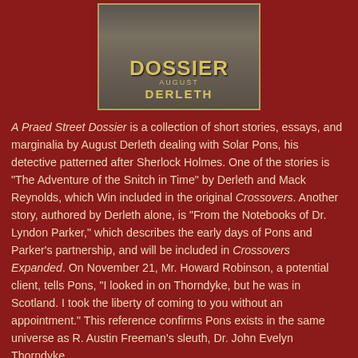[Figure (photo): Book cover of 'A Praed Street Dossier' by August Derleth, showing the title DOSSIER in large gold letters and author name DERLETH below, against a dark background.]
A Praed Street Dossier is a collection of short stories, essays, and marginalia by August Derleth dealing with Solar Pons, his detective patterned after Sherlock Holmes. One of the stories is "The Adventure of the Snitch in Time" by Derleth and Mack Reynolds, which Win included in the original Crossovers. Another story, authored by Derleth alone, is "From the Notebooks of Dr. Lyndon Parker," which describes the early days of Pons and Parker's partnership, and will be included in Crossovers Expanded. On November 21, Mr. Howard Robinson, a potential client, tells Pons, “I looked in on Thorndyke, but he was in Scotland. I took the liberty of coming to you without an appointment.” This reference confirms Pons exists in the same universe as R. Austin Freeman’s sleuth, Dr. John Evelyn Thorndyke.
Sean Levin at 7:55 AM    4 comments: